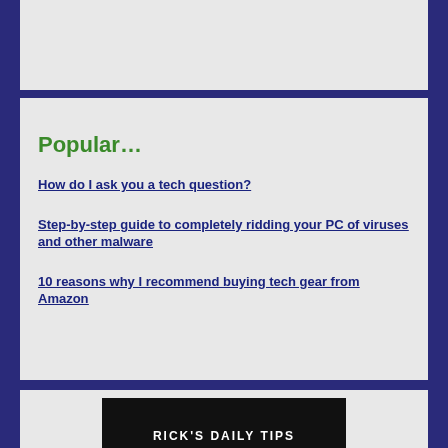[Figure (other): Gray placeholder rectangle at top of page]
Popular…
How do I ask you a tech question?
Step-by-step guide to completely ridding your PC of viruses and other malware
10 reasons why I recommend buying tech gear from Amazon
[Figure (photo): Dark banner image with white bold text reading RICK'S DAILY TIPS (partially visible at bottom of page)]